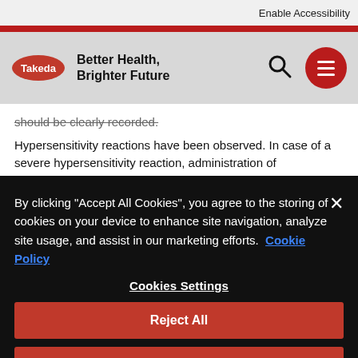Enable Accessibility
[Figure (logo): Takeda logo with red oval shape and white Takeda text]
Better Health, Brighter Future
should be clearly recorded.
Hypersensitivity reactions have been observed. In case of a severe hypersensitivity reaction, administration of TAKHZYRO must be
By clicking “Accept All Cookies”, you agree to the storing of cookies on your device to enhance site navigation, analyze site usage, and assist in our marketing efforts.  Cookie Policy
Cookies Settings
Reject All
Accept All Cookies